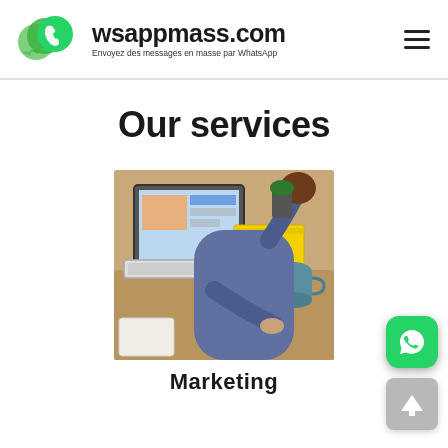wsappmass.com — Envoyez des messages en masse par WhatsApp
Our services
[Figure (photo): Person seated at a desk using a laptop, with notebooks and a mug visible, in a marketing/office setting.]
Marketing